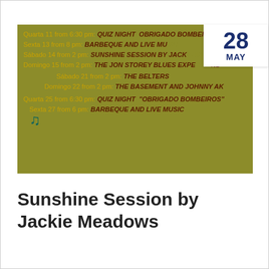[Figure (infographic): Olive-green event banner listing dates and events in Portuguese and English, with a musical note icon and a white date badge showing 28 MAY]
Sunshine Session by Jackie Meadows